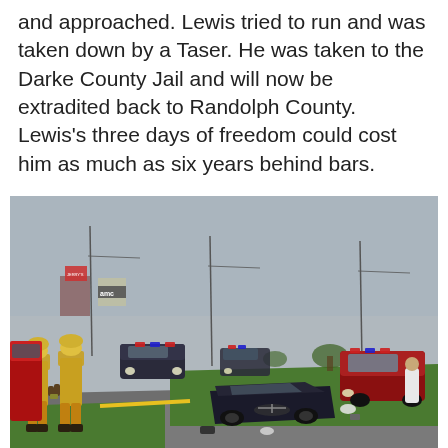and approached. Lewis tried to run and was taken down by a Taser. He was taken to the Darke County Jail and will now be extradited back to Randolph County. Lewis's three days of freedom could cost him as much as six years behind bars.
[Figure (photo): Outdoor scene showing a car that has driven off the road onto grass, surrounded by emergency responders including firefighters in yellow gear on the left, police vehicles with flashing lights in the background, and a pickup truck on the right. The scene appears to be along a commercial roadway.]